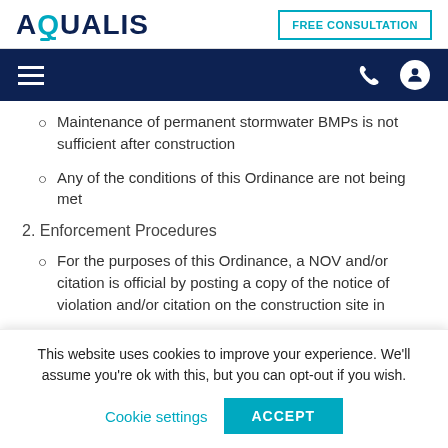AQUALIS
FREE CONSULTATION
Maintenance of permanent stormwater BMPs is not sufficient after construction
Any of the conditions of this Ordinance are not being met
2. Enforcement Procedures
For the purposes of this Ordinance, a NOV and/or citation is official by posting a copy of the notice of violation and/or citation on the construction site in
This website uses cookies to improve your experience. We'll assume you're ok with this, but you can opt-out if you wish.
Cookie settings   ACCEPT